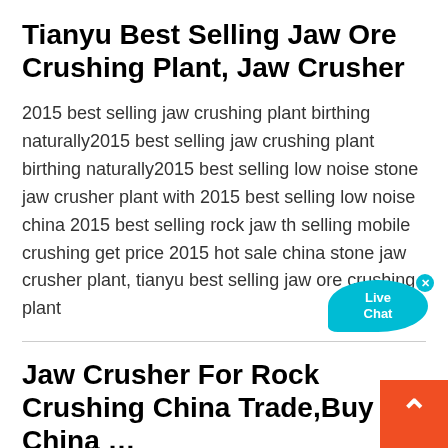Tianyu Best Selling Jaw Ore Crushing Plant, Jaw Crusher
2015 best selling jaw crushing plant birthing naturally2015 best selling jaw crushing plant birthing naturally2015 best selling low noise stone jaw crusher plant with 2015 best selling low noise china 2015 best selling rock jaw th selling mobile crushing get price 2015 hot sale china stone jaw crusher plant, tianyu best selling jaw ore crushing plant
Jaw Crusher For Rock Crushing China Trade,Buy China …
A wide variety of jaw crusher for rock crushing options available to you, such as long service life, high productivity, and easy to operate. You can also choose from building